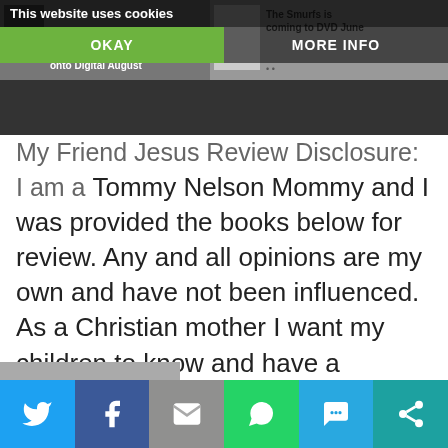This website uses cookies | OKAY | MORE INFO
My Friend Jesus Review Disclosure. I am a Tommy Nelson Mommy and I was provided the books below for review.  Any and all opinions are my own and have not been influenced. As a Christian mother I want my children to know and have a relationship with Jesus and God.  I want to introduce them...
[Figure (screenshot): Social share bar at bottom with Twitter, Facebook, Email, WhatsApp, SMS, and More icons]